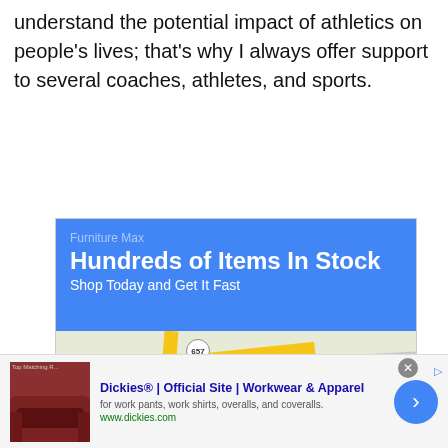understand the potential impact of athletics on people's lives; that's why I always offer support to several coaches, athletes, and sports.
[Figure (screenshot): Google Maps advertisement for Furniture Max showing blue header with 'Hundreds of Items In Stock / Shop Today and Get It Fast', a map showing McNair area with route 657 and Sunrise Valley Dr, and Store info / Directions buttons]
[Figure (screenshot): Bottom banner ad for Dickies Official Site showing sofa image, 'Dickies® | Official Site | Workwear & Apparel', description text, www.dickies.com URL, and a blue arrow CTA button]